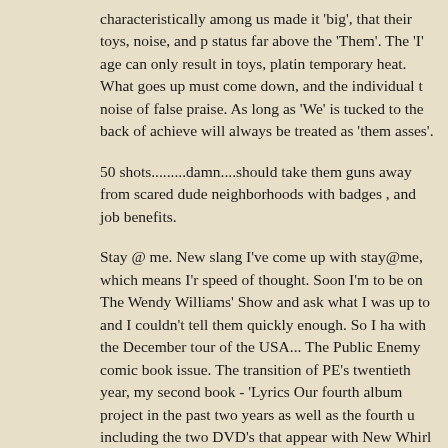characteristically among us made it 'big', that their toys, noise, and p status far above the 'Them'. The 'I' age can only result in toys, platin temporary heat. What goes up must come down, and the individual t noise of false praise. As long as 'We' is tucked to the back of achieve will always be treated as 'them asses'.
50 shots.........damn....should take them guns away from scared dude neighborhoods with badges , and job benefits.
Stay @ me. New slang I've come up with stay@me, which means I'r speed of thought. Soon I'm to be on The Wendy Williams' Show and ask what I was up to and I couldn't tell them quickly enough. So I ha with the December tour of the USA... The Public Enemy comic book issue. The transition of PE's twentieth year, my second book - 'Lyrics Our fourth album project in the past two years as well as the fourth u including the two DVD's that appear with New Whirl Odor and Beats There's Smoke'. The SLAMjamz label with thirty artists and fifteen C be a model standard for both licensing and technology. My sixteenth from the Howards to the Harvards. 'Chuck D Mobile' hopes to magni small screen. Air America radio where the show ON THE REAL is he co-host Gia'na Garel every Sunday night at 11 PM to 1 AM. My ELE have been sidelined by a selling of the magazine to a major publishi